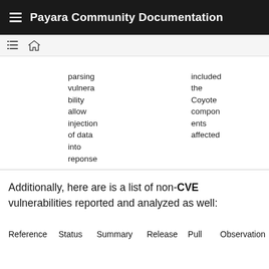Payara Community Documentation
| Reference | Status | Summary | Release | Pull | Observation |
| --- | --- | --- | --- | --- | --- |
|  |  | parsing vulnera bility allow injection of data into reponse |  | included the Coyote compon ents affected |  |
Additionally, here are is a list of non-CVE vulnerabilities reported and analyzed as well:
| Reference | Status | Summary | Release | Pull | Observation |
| --- | --- | --- | --- | --- | --- |